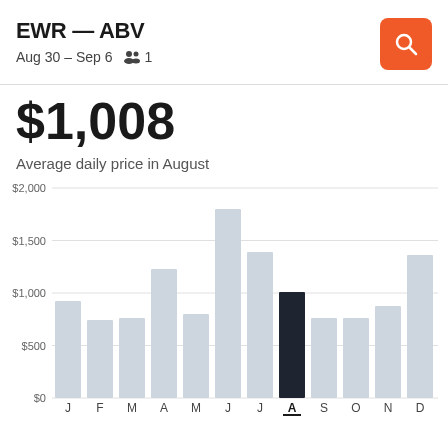EWR — ABV
Aug 30 – Sep 6   1
$1,008
Average daily price in August
[Figure (bar-chart): Average daily price by month]